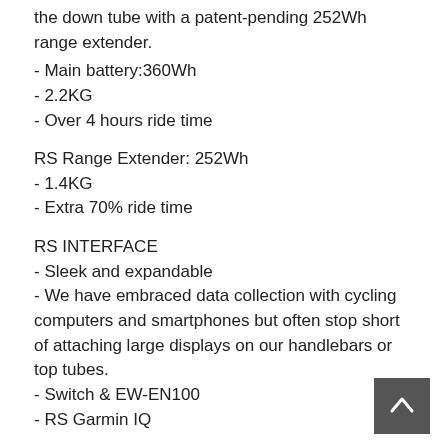the down tube with a patent-pending 252Wh range extender.
- Main battery:360Wh
- 2.2KG
- Over 4 hours ride time
RS Range Extender: 252Wh
- 1.4KG
- Extra 70% ride time
RS INTERFACE
- Sleek and expandable
- We have embraced data collection with cycling computers and smartphones but often stop short of attaching large displays on our handlebars or top tubes.
- Switch & EW-EN100
- RS Garmin IQ
RS WEIGHT
- The RS Motor, Battery, and Electronics are lighter than